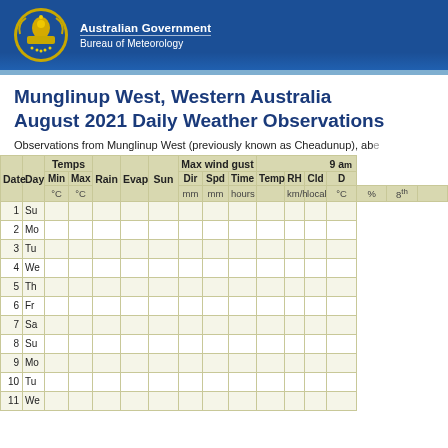Australian Government Bureau of Meteorology
Munglinup West, Western Australia August 2021 Daily Weather Observations
Observations from Munglinup West (previously known as Cheadunup), ab...
| Date | Day | Min | Max | Rain | Evap | Sun | Dir | Spd | Time | Temp | RH | Cld | D |
| --- | --- | --- | --- | --- | --- | --- | --- | --- | --- | --- | --- | --- | --- |
| 1 | Su |  |  |  |  |  |  |  |  |  |  |  |  |
| 2 | Mo |  |  |  |  |  |  |  |  |  |  |  |  |
| 3 | Tu |  |  |  |  |  |  |  |  |  |  |  |  |
| 4 | We |  |  |  |  |  |  |  |  |  |  |  |  |
| 5 | Th |  |  |  |  |  |  |  |  |  |  |  |  |
| 6 | Fr |  |  |  |  |  |  |  |  |  |  |  |  |
| 7 | Sa |  |  |  |  |  |  |  |  |  |  |  |  |
| 8 | Su |  |  |  |  |  |  |  |  |  |  |  |  |
| 9 | Mo |  |  |  |  |  |  |  |  |  |  |  |  |
| 10 | Tu |  |  |  |  |  |  |  |  |  |  |  |  |
| 11 | We |  |  |  |  |  |  |  |  |  |  |  |  |